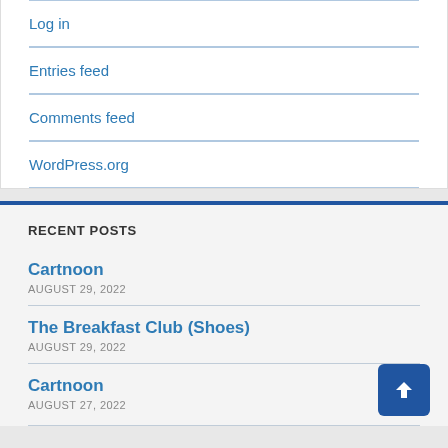Log in
Entries feed
Comments feed
WordPress.org
RECENT POSTS
Cartnoon
AUGUST 29, 2022
The Breakfast Club (Shoes)
AUGUST 29, 2022
Cartnoon
AUGUST 27, 2022